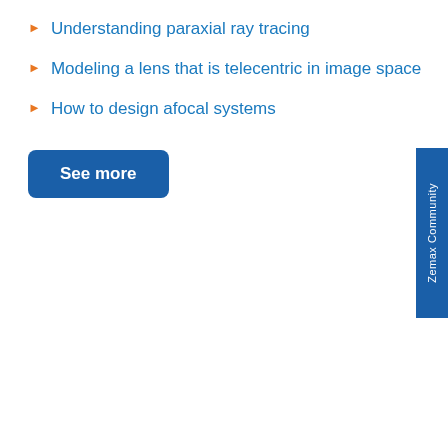Understanding paraxial ray tracing
Modeling a lens that is telecentric in image space
How to design afocal systems
See more
Zemax Community